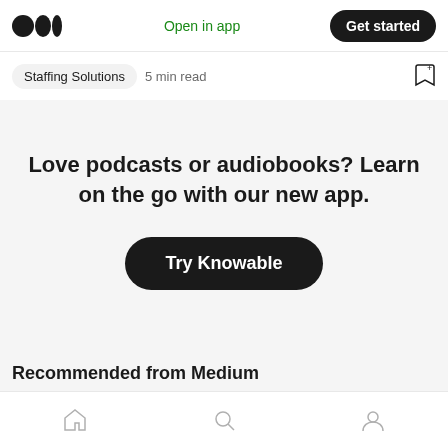Open in app | Get started
Staffing Solutions  5 min read
Love podcasts or audiobooks? Learn on the go with our new app.
Try Knowable
Recommended from Medium
Home | Search | Profile